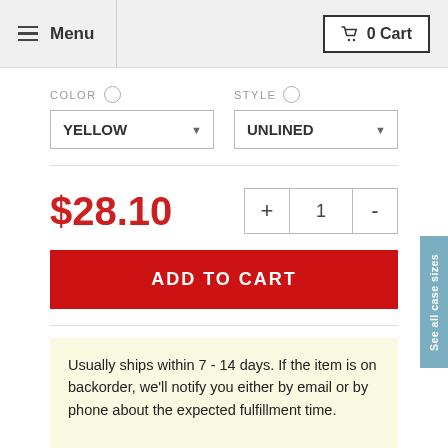Menu   0 Cart
COLOR   STYLE
YELLOW   UNLINED
$28.10
+ 1 -
ADD TO CART
Usually ships within 7 - 14 days. If the item is on backorder, we'll notify you either by email or by phone about the expected fulfillment time.
Learn more about the shipping time.